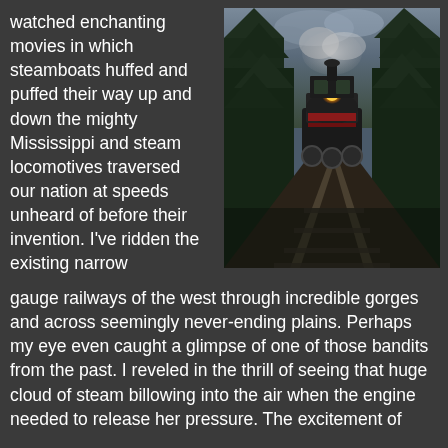watched enchanting movies in which steamboats huffed and puffed their way up and down the mighty Mississippi and steam locomotives traversed our nation at speeds unheard of before their invention. I've ridden the existing narrow gauge railways of the west through incredible gorges and across seemingly never-ending plains. Perhaps my eye even caught a glimpse of one of those bandits from the past. I reveled in the thrill of seeing that huge cloud of steam billowing into the air when the engine needed to release her pressure. The excitement of
[Figure (photo): A steam locomotive coming toward the camera on railroad tracks through a dense green forest, with steam/smoke visible, dark dramatic lighting]